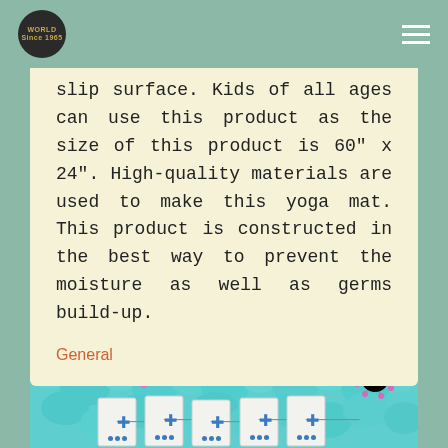WORLD logo and hamburger menu
slip surface. Kids of all ages can use this product as the size of this product is 60" x 24". High-quality materials are used to make this yoga mat. This product is constructed in the best way to prevent the moisture as well as germs build-up.
General
[Figure (photo): 3D rendering of pink/magenta and golden-brown virus particles floating above teal/turquoise pebble-like surface, with white product boxes at the bottom showing blue cross and dot symbols]